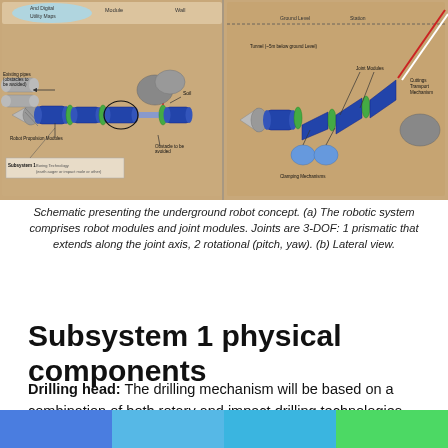[Figure (engineering-diagram): Two-panel schematic of underground robot concept. Left panel (Subsystem 1): shows snake-like robotic system with blue robot propulsion modules, green joint rings, boring technology (earth auger or impact mole or other) at tip, existing pipes as obstacles to be avoided, and soil with obstacle boulders. Right panel: shows lateral view with ground level indicated, tunnel (~5m below ground level), joint modules, clamping mechanisms, and cuttings transport mechanism.]
Schematic presenting the underground robot concept. (a) The robotic system comprises robot modules and joint modules. Joints are 3-DOF: 1 prismatic that extends along the joint axis, 2 rotational (pitch, yaw). (b) Lateral view.
Subsystem 1 physical components
Drilling head: The drilling mechanism will be based on a combination of both rotary and impact drilling technologies , which will ensure maximum efficiency and compact design.